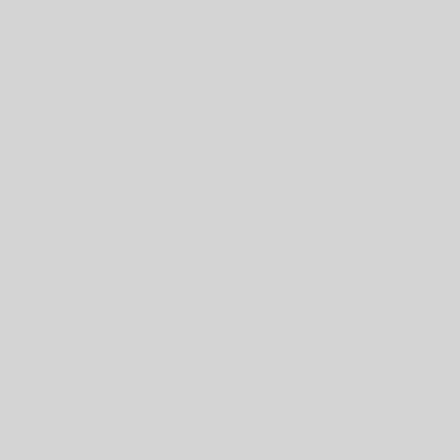3732 3733 3734 3735 3736 3737 3... 3747 3748 3749 3750 3751 3752 3... 3762 3763 3764 3765 3766 3767 3... 3777 3778 3779 3780 3781 3782 3... 3792 3793 3794 3795 3796 3797 3... 3807 3808 3809 3810 3811 3812 3... 3822 3823 3824 3825 3826 3827 3... 3837 3838 3839 3840 3841 3842 3... 3852 3853 3854 3855 3856 3857 3... 3867 3868 3869 3870 3871 3872 3... 3882 3883 3884 3885 3886 3887 3... 3897 3898 3899 3900 3901 3902 3... 3912 3913 3914 3915 3916 3917 3... 3927 3928 3929 3930 3931 3932 3... 3942 3943 3944 3945 3946 3947 3... 3957 3958 3959 3960 3961 3962 3... 3972 3973 3974 3975 3976 3977 3... 3987 3988 3989 3990 3991 3992 3... 4002 4003 4004 4005 4006 4007 4... 4017 4018 4019 4020 4021 4022 4... 4032 4033 4034 4035 4036 4037 4... 4047 4048 4049 4050 4051 4052 4... 4062 4063 4064 4065 4066 4067 4... 4077 4078 4079 4080 4081 4082 4... 4092 4093 4094 4095 4096 4097 4... 4107 4108 4109 4110 4111 4112 4...